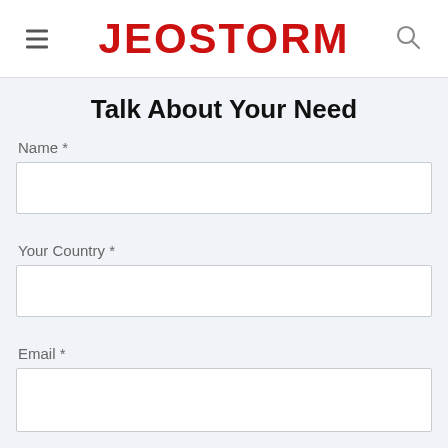JEOSTORM
Talk About Your Need
Name *
Your Country *
Email *